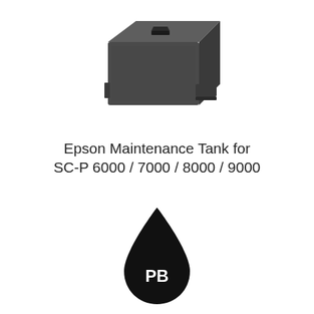[Figure (photo): Epson maintenance tank / ink absorber box — dark grey rectangular unit with a slot cutout on top and chip sensor on front-right, viewed from front-left perspective]
Epson Maintenance Tank for SC-P 6000 / 7000 / 8000 / 9000
[Figure (illustration): Black ink drop shape with white text 'PB' inside, representing Photo Black ink type]